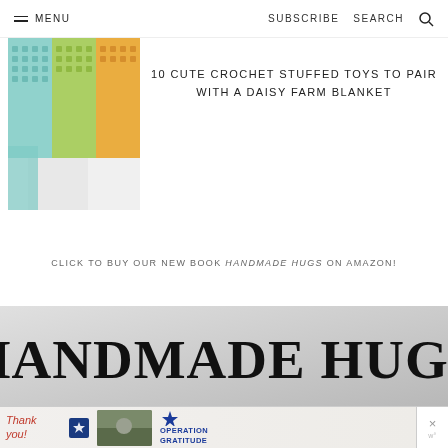MENU | SUBSCRIBE SEARCH
[Figure (photo): Partial view of a colorful crochet blanket with teal, green, yellow and orange sections, photographed against a white background]
10 CUTE CROCHET STUFFED TOYS TO PAIR WITH A DAISY FARM BLANKET
CLICK TO BUY OUR NEW BOOK HANDMADE HUGS ON AMAZON!
[Figure (photo): Book cover banner showing 'HANDMADE HUGS' title in large bold serif font on a light gray background]
[Figure (photo): Advertisement banner for Operation Gratitude showing 'Thank you!' text and military imagery]